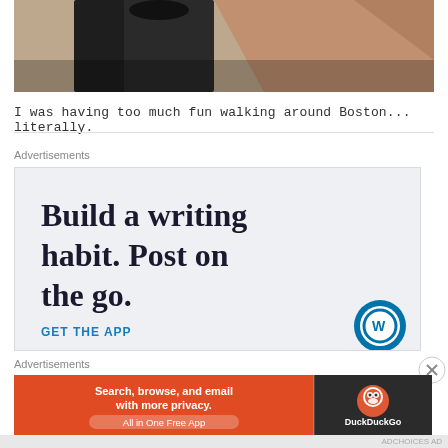[Figure (photo): Close-up photo of a person's legs/feet walking on brick pavement, dark clothing, hand visible at right edge]
I was having too much fun walking around Boston... literally.
Advertisements
[Figure (screenshot): WordPress mobile app advertisement: 'Build a writing habit. Post on the go.' with GET THE APP call to action and WordPress logo icon]
Advertisements
[Figure (screenshot): DuckDuckGo advertisement: 'Search, browse, and email with more privacy. All in One Free App' on orange background with DuckDuckGo logo on dark background]